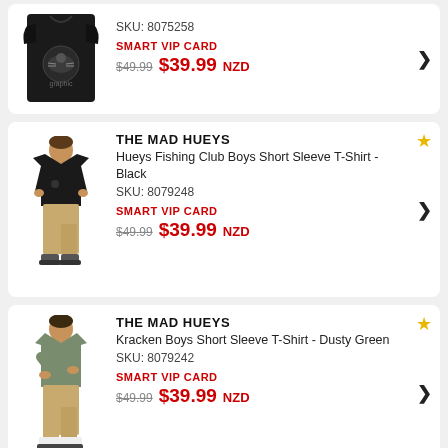[Figure (photo): Black graphic t-shirt product photo (partial card, top)]
SKU: 8075258
SMART VIP CARD
$49.99  $39.99 NZD
[Figure (photo): Boy wearing black t-shirt and khaki pants, full body photo]
THE MAD HUEYS
Hueys Fishing Club Boys Short Sleeve T-Shirt - Black
SKU: 8079248
SMART VIP CARD
$49.99  $39.99 NZD
[Figure (photo): Boy wearing dusty green t-shirt and khaki pants, full body photo]
THE MAD HUEYS
Kracken Boys Short Sleeve T-Shirt - Dusty Green
SKU: 8079242
SMART VIP CARD
$49.99  $39.99 NZD